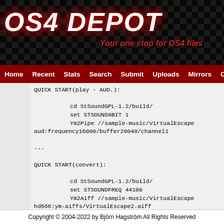[Figure (logo): OS4 Depot logo with red glowing italic text on black checkered background]
Home  Recent  Stats  Search  Submit  Uploads  Mirrors  C...
QUICK START(play - AUD.):

        cd StSoundGPL-1.2/build/
        set STSOUND8BIT 1
        Ym2Pipe //sample-music/VirtualEscape
aud:frequency16000/buffer20048/channel1

---

QUICK START(convert):

        cd StSoundGPL-1.2/build/
        set STSOUNDFREQ 44100
        Ym2Aiff //sample-music/VirtualEscape
hd666:ym-aiffs/VirtualEscape2.aiff

---

QUICK INFO:

        cd StSoundGPL-1.2/build/
Copyright © 2004-2022 by Björn Hagström All Rights Reserved